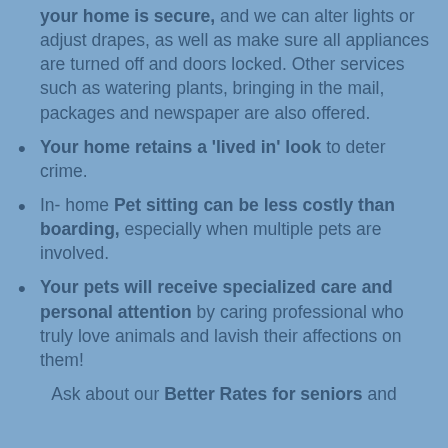make sure your home is secure, and we can alter lights or adjust drapes, as well as make sure all appliances are turned off and doors locked. Other services such as watering plants, bringing in the mail, packages and newspaper are also offered.
Your home retains a 'lived in' look to deter crime.
In- home Pet sitting can be less costly than boarding, especially when multiple pets are involved.
Your pets will receive specialized care and personal attention by caring professional who truly love animals and lavish their affections on them!
Ask about our Better Rates for seniors and